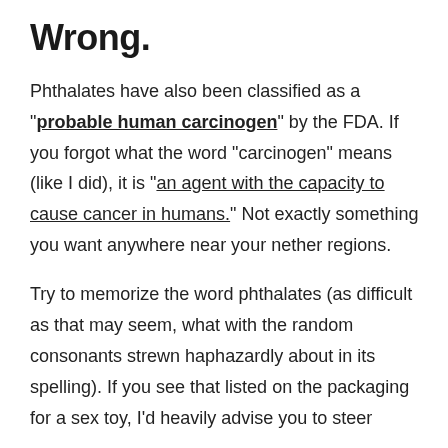Wrong.
Phthalates have also been classified as a "probable human carcinogen" by the FDA. If you forgot what the word "carcinogen" means (like I did), it is "an agent with the capacity to cause cancer in humans." Not exactly something you want anywhere near your nether regions.
Try to memorize the word phthalates (as difficult as that may seem, what with the random consonants strewn haphazardly about in its spelling). If you see that listed on the packaging for a sex toy, I'd heavily advise you to steer